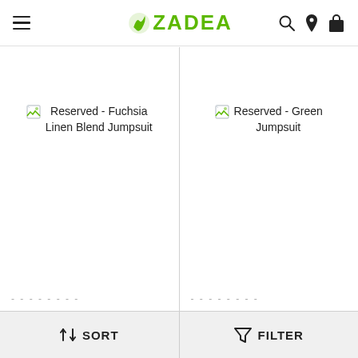ZADEA navigation bar with hamburger menu, logo, search, location, and cart icons
[Figure (screenshot): Product card: Reserved - Fuchsia Linen Blend Jumpsuit with broken image placeholder]
[Figure (screenshot): Product card: Reserved - Green Jumpsuit with broken image placeholder]
SORT   FILTER